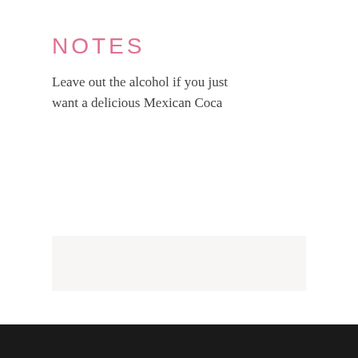NOTES
Leave out the alcohol if you just want a delicious Mexican Coca